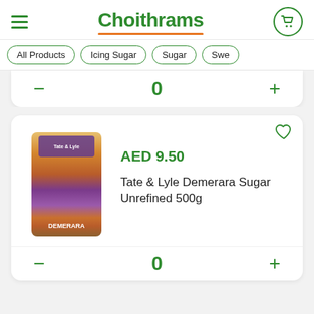Choithrams
All Products
Icing Sugar
Sugar
Swe...
0
AED 9.50
Tate & Lyle Demerara Sugar Unrefined 500g
0